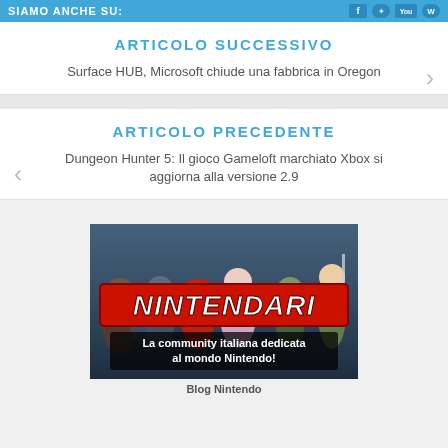SIAMO ANCHE SU:
ARTICOLO SUCCESSIVO
Surface HUB, Microsoft chiude una fabbrica in Oregon
ARTICOLO PRECEDENTE
Dungeon Hunter 5: Il gioco Gameloft marchiato Xbox si aggiorna alla versione 2.9
[Figure (illustration): Nintendari banner image showing Nintendo game characters with bold red 'NINTENDARI' logo text and subtitle 'La community italiana dedicata al mondo Nintendo!']
Blog Nintendo